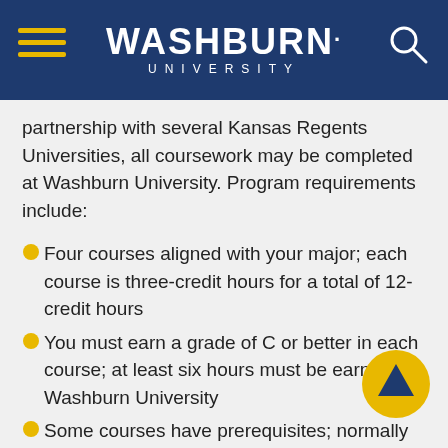[Figure (logo): Washburn University logo with hamburger menu and search icon on dark blue header background]
partnership with several Kansas Regents Universities, all coursework may be completed at Washburn University. Program requirements include:
Four courses aligned with your major; each course is three-credit hours for a total of 12-credit hours
You must earn a grade of C or better in each course; at least six hours must be earned at Washburn University
Some courses have prerequisites; normally prerequisites are met as part of the student's